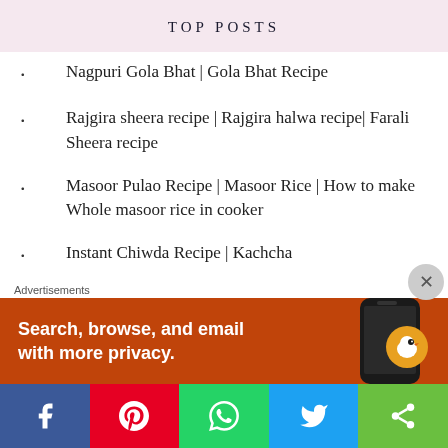TOP POSTS
Nagpuri Gola Bhat | Gola Bhat Recipe
Rajgira sheera recipe | Rajgira halwa recipe| Farali Sheera recipe
Masoor Pulao Recipe | Masoor Rice | How to make Whole masoor rice in cooker
Instant Chiwda Recipe | Kachcha
[Figure (screenshot): Advertisement banner: DuckDuckGo app ad with text 'Search, browse, and email with more privacy.' on orange background with phone image]
[Figure (infographic): Social media share bar with Facebook, Pinterest, WhatsApp, Twitter, and share buttons]